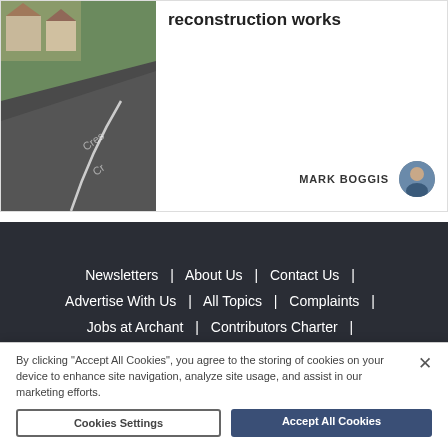[Figure (photo): Street view photo of a curved road, likely showing road reconstruction works area]
reconstruction works
MARK BOGGIS
Newsletters | About Us | Contact Us | Advertise With Us | All Topics | Complaints | Jobs at Archant | Contributors Charter | Cookie Policy | Privacy Policy | Terms & Conditions | Archant | Manage Cookies
By clicking "Accept All Cookies", you agree to the storing of cookies on your device to enhance site navigation, analyze site usage, and assist in our marketing efforts.
Cookies Settings | Accept All Cookies